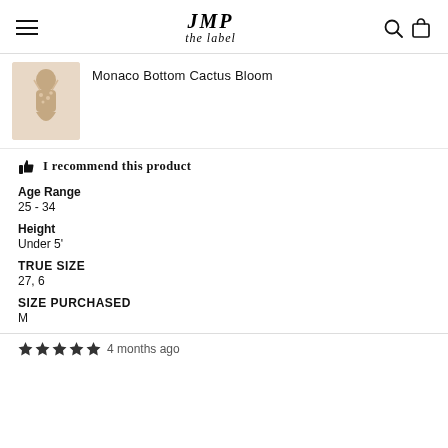JMP the label — navigation header with hamburger menu, logo, search and bag icons
[Figure (photo): Product photo of Monaco Bottom Cactus Bloom bikini bottom, model shown from back]
Monaco Bottom Cactus Bloom
👍 I recommend this product
Age Range
25 - 34
Height
Under 5'
TRUE SIZE
27, 6
SIZE PURCHASED
M
4 months ago